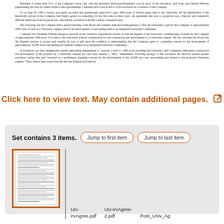President of Irvine held 51% of the Company's stock; that with the interested third-party-President's vote in favor of the resolution. And Joan and Charles Wheeler (representing his wife not James Irvine's other guardianship, Catherine) had voted in favor of the resolution as co-trustors of the Company. So on June 20, 1963 a motion was made, seconded and unanimously approved to give 1000 acres of Irvine's prime land to the University. All the shareholders of the historically private Irvine Company had finally agreed on something for the first time in three years. An agreement that was so propitious was a historic and completely different milestone from its past moves. And indeed, revelation from this country's expansive past. The following day the Company held a special meeting of the Board and formally authorized management to offer the University 'a gift by this Company of approximately 1000 acres of land as a University Campus and for the development of surrounding land as an integrated University Community.' Company Vice President William Spurgeon reported on the 'extensive negotiations carried on with the Regents of the University contemplating a transfer by the Company of approximately 1000 acres of its land to the University without consideration for the construction and development of a University campus'. He also informed the Board that 'the Regents propose to accept such transfer by way of gift upon the condition or understanding that the Company agree to a planning concept for the development of approximately 10,000 acres surrounding the intended campus as an Integrated University community...' A resolution was then unanimously passed authorizing management to 'execute a deed to 1,000 acres providing the University shall commence substantial construction and development of the property as a University campus not later than January 1, 1965.' Immediately following passage of this resolution the directors passed another resolution stating they had 'received as a preliminary planning concept for the development of the 10,000 acre area surrounding and related to the proposed University campus.' Thus, almost three years from the date the Regents had rejected
Click here to view text. May contain additional pages.
Set contains 3 items.
[Figure (screenshot): Thumbnail preview of a document page showing dense text]
Uci-irvAgree.pdf
Uci-irvAgree-2.pdf
Post_Univ_Ag